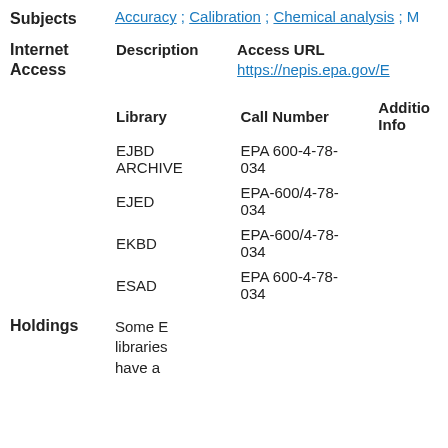Subjects   Accuracy ; Calibration ; Chemical analysis ; M…
| Description | Access URL |
| --- | --- |
|  | https://nepis.epa.gov/E… |
| Library | Call Number | Additional Info |
| --- | --- | --- |
| EJBD ARCHIVE | EPA 600-4-78-034 |  |
| EJED | EPA-600/4-78-034 |  |
| EKBD | EPA-600/4-78-034 |  |
| ESAD | EPA 600-4-78-034 |  |
Holdings   Some E… libraries… have a…